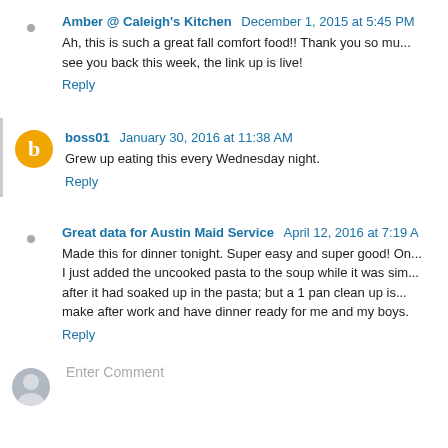Amber @ Caleigh's Kitchen  December 1, 2015 at 5:45 PM
Ah, this is such a great fall comfort food!! Thank you so much for linking up! Hope to see you back this week, the link up is live!
Reply
boss01  January 30, 2016 at 11:38 AM
Grew up eating this every Wednesday night.
Reply
Great data for Austin Maid Service  April 12, 2016 at 7:19 A
Made this for dinner tonight. Super easy and super good! On... I just added the uncooked pasta to the soup while it was sim... after it had soaked up in the pasta; but a 1 pan clean up is... make after work and have dinner ready for me and my boys.
Reply
Enter Comment